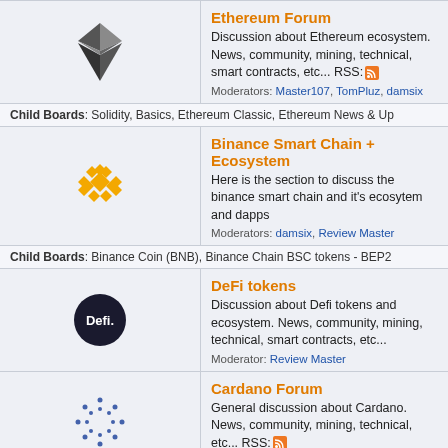Ethereum Forum - Discussion about Ethereum ecosystem. News, community, mining, technical, smart contracts, etc... RSS: Moderators: Master107, TomPluz, damsix
Child Boards: Solidity, Basics, Ethereum Classic, Ethereum News & Up
Binance Smart Chain + Ecosystem - Here is the section to discuss the binance smart chain and it's ecosytem and dapps. Moderators: damsix, Review Master
Child Boards: Binance Coin (BNB), Binance Chain BSC tokens - BEP2
DeFi tokens - Discussion about Defi tokens and ecosystem. News, community, mining, technical, smart contracts, etc... Moderator: Review Master
Cardano Forum - General discussion about Cardano. News, community, mining, technical, etc... RSS: Moderator: Review Master
Ripple Forum - General discussion about the Ripple ecosystem. News, community, mining, technical, etc... RSS: Moderator: Freemind
Child Boards: Ripple News & Updates